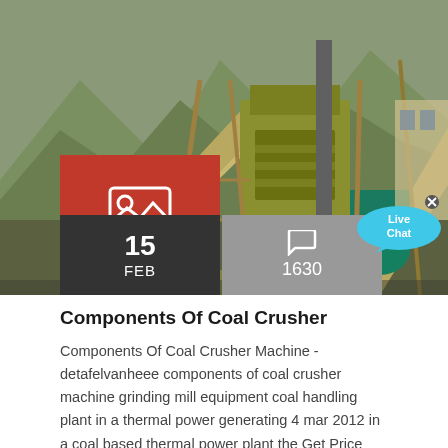[Figure (photo): Industrial coal crusher machinery at a mining site with conveyor belts and large yellow crusher equipment, mountains visible in background]
Components Of Coal Crusher
Components Of Coal Crusher Machine - detafelvanheee components of coal crusher machine grinding mill equipment coal handling plant in a thermal power generating 4 mar 2012 in a coal based thermal power plant the Get Price slag crusher components selectarcfsh welding group for components subject to low or moderate shockhooks various coal crusher and conveyor belt